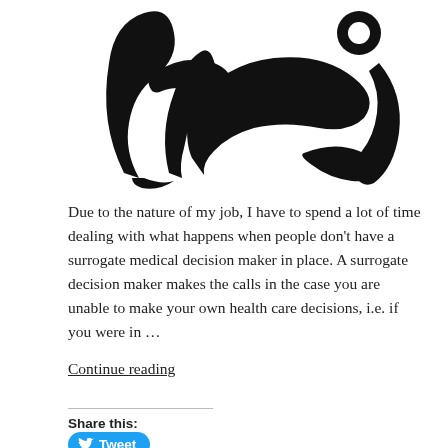[Figure (illustration): Black calligraphic Arabic-style illustration showing stylized human figures or letters on white background]
Due to the nature of my job, I have to spend a lot of time dealing with what happens when people don't have a surrogate medical decision maker in place. A surrogate decision maker makes the calls in the case you are unable to make your own health care decisions, i.e. if you were in …
Continue reading
Share this:
[Figure (other): Twitter Tweet button (blue rounded rectangle with bird icon and 'Tweet' label)]